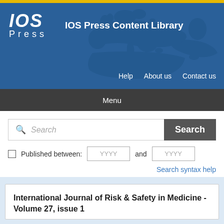[Figure (logo): IOS Press logo with world map background and blue header. Contains 'IOS Press Content Library' text and navigation links: Help, About us, Contact us]
Menu
Search
Published between: YYYY and YYYY
Search syntax help
International Journal of Risk & Safety in Medicine -Volume 27, issue 1